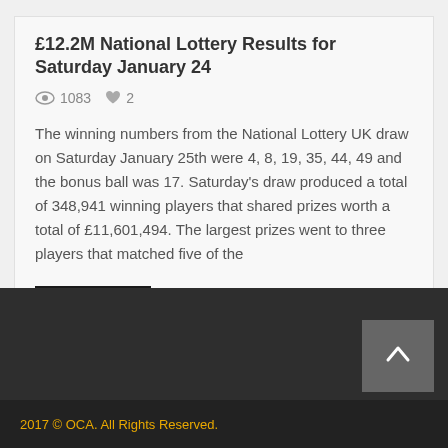£12.2M National Lottery Results for Saturday January 24
1083  ♥ 2
The winning numbers from the National Lottery UK draw on Saturday January 25th were 4, 8, 19, 35, 44, 49 and the bonus ball was 17. Saturday's draw produced a total of 348,941 winning players that shared prizes worth a total of £11,601,494. The largest prizes went to three players that matched five of the
Read more
2017 © OCA. All Rights Reserved.